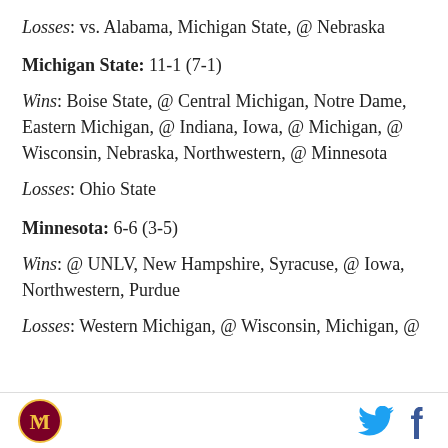Losses: vs. Alabama, Michigan State, @ Nebraska
Michigan State: 11-1 (7-1)
Wins: Boise State, @ Central Michigan, Notre Dame, Eastern Michigan, @ Indiana, Iowa, @ Michigan, @ Wisconsin, Nebraska, Northwestern, @ Minnesota
Losses: Ohio State
Minnesota: 6-6 (3-5)
Wins: @ UNLV, New Hampshire, Syracuse, @ Iowa, Northwestern, Purdue
Losses: Western Michigan, @ Wisconsin, Michigan, @
Logo and social media icons